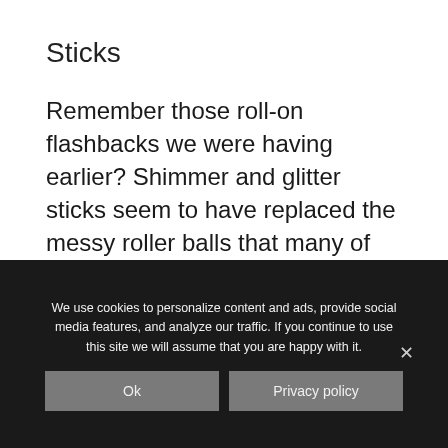Sticks
Remember those roll-on flashbacks we were having earlier? Shimmer and glitter sticks seem to have replaced the messy roller balls that many of us might remember from days long past. These sticks are terrific for travel or throwing in your purse.
We use cookies to personalize content and ads, provide social media features, and analyze our traffic. If you continue to use this site we will assume that you are happy with it.